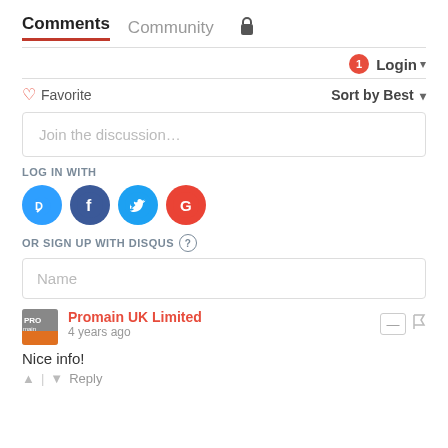Comments  Community
Login
♡ Favorite    Sort by Best
Join the discussion…
LOG IN WITH
[Figure (other): Social login icons: Disqus, Facebook, Twitter, Google]
OR SIGN UP WITH DISQUS ?
Name
Promain UK Limited
4 years ago
Nice info!
^ | v  Reply